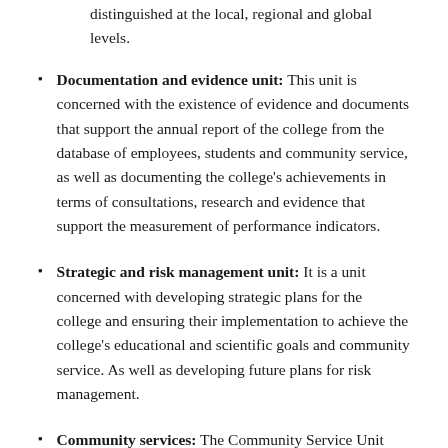distinguished at the local, regional and global levels.
Documentation and evidence unit: This unit is concerned with the existence of evidence and documents that support the annual report of the college from the database of employees, students and community service, as well as documenting the college's achievements in terms of consultations, research and evidence that support the measurement of performance indicators.
Strategic and risk management unit: It is a unit concerned with developing strategic plans for the college and ensuring their implementation to achieve the college's educational and scientific goals and community service. As well as developing future plans for risk management.
Community services: The Community Service Unit